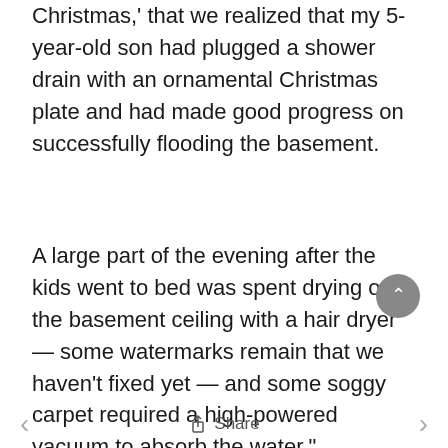Christmas,' that we realized that my 5-year-old son had plugged a shower drain with an ornamental Christmas plate and had made good progress on successfully flooding the basement.
A large part of the evening after the kids went to bed was spent drying out the basement ceiling with a hair dryer — some watermarks remain that we haven't fixed yet — and some soggy carpet required a high-powered vacuum to absorb the water."
< Share >